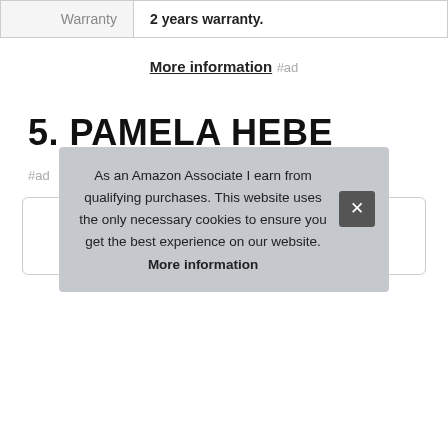| Warranty |  |
| --- | --- |
| Warranty | 2 years warranty. |
More information #ad
5. PAMELA HEBE
#ad
As an Amazon Associate I earn from qualifying purchases. This website uses the only necessary cookies to ensure you get the best experience on our website. More information